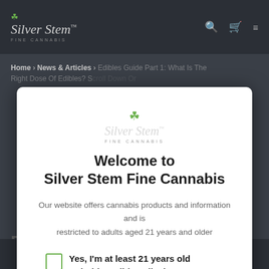[Figure (logo): Silver Stem Fine Cannabis logo in navigation bar — italic script wordmark with cannabis leaf icon and 'FINE CANNABIS' subtitle]
Silver Stem Fine Cannabis navigation bar with logo, search icon, cart icon, and menu icon
Home > News & Articles > Edibles Guide Part 1: What Is The Right Dose Of Edibles? Scroll Down Or
[Figure (logo): Silver Stem Fine Cannabis overlay logo — cannabis leaf icon above italic script wordmark with TM and 'FINE CANNABIS' subtitle]
Welcome to Silver Stem Fine Cannabis
Our website offers cannabis products and information and is restricted to adults aged 21 years and older
Yes, I'm at least 21 years old or hold a valid Medical Marijuana Card
Edibles Guide Part 1: What is
Bottom navigation bar with home, shop, leaf, favorites, and cart icons